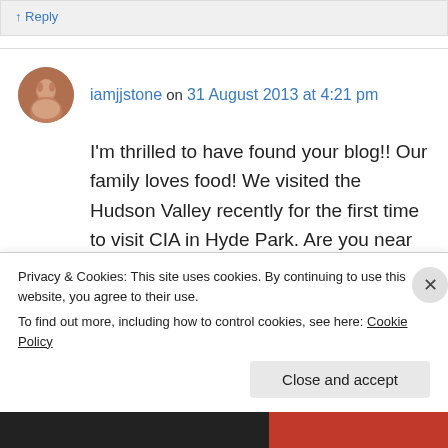↑ Reply
iamjjstone on 31 August 2013 at 4:21 pm
I'm thrilled to have found your blog!! Our family loves food! We visited the Hudson Valley recently for the first time to visit CIA in Hyde Park. Are you near there? Our son is going to
Privacy & Cookies: This site uses cookies. By continuing to use this website, you agree to their use.
To find out more, including how to control cookies, see here: Cookie Policy
Close and accept